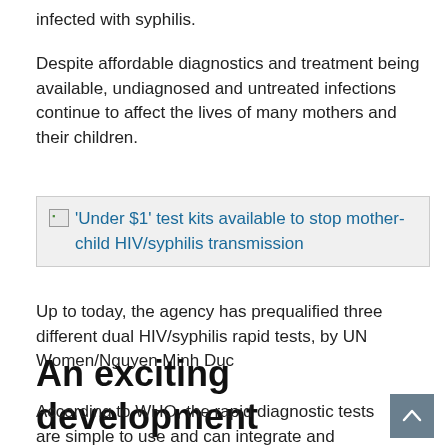infected with syphilis.
Despite affordable diagnostics and treatment being available, undiagnosed and untreated infections continue to affect the lives of many mothers and their children.
[Figure (other): Image link box with broken image icon and link text: 'Under $1' test kits available to stop mother-child HIV/syphilis transmission]
Up to today, the agency has prequalified three different dual HIV/syphilis rapid tests, by UN Women/Nguyen Minh Duc
An exciting development
According to WHO, the rapid diagnostic tests are simple to use and can integrate and streamline services. They can also enable more countries to eliminate mother-to-child transmission (EMTCT) of HIV and syphilis.